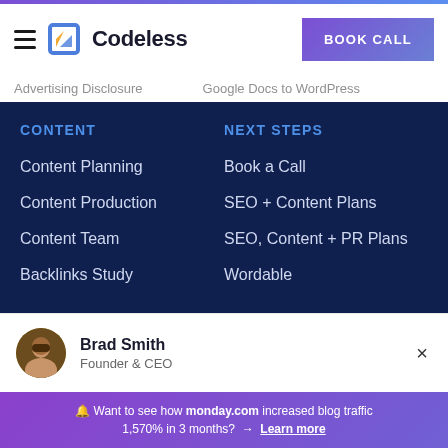Codeless — BOOK CALL
Advertising Disclosure   Google Docs to WordPress
CONTENT
Content Planning
Content Production
Content Team
Backlinks Study
NEXT STEPS
Book a Call
SEO + Content Plans
SEO, Content + PR Plans
Wordable
Brad Smith
Founder & CEO
🔔 Want to see how monday.com increased blog traffic 1,570% in 3 months? → Learn more